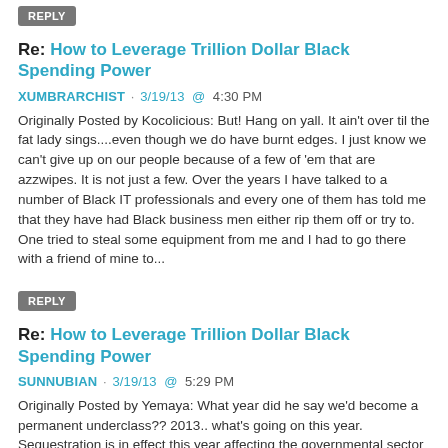REPLY
Re: How to Leverage Trillion Dollar Black Spending Power
XUMBRARCHIST · 3/19/13  @  4:30 PM
Originally Posted by Kocolicious: But! Hang on yall. It ain't over til the fat lady sings....even though we do have burnt edges. I just know we can't give up on our people because of a few of 'em that are azzwipes. It is not just a few. Over the years I have talked to a number of Black IT professionals and every one of them has told me that they have had Black business men either rip them off or try to. One tried to steal some equipment from me and I had to go there with a friend of mine to...
REPLY
Re: How to Leverage Trillion Dollar Black Spending Power
SUNNUBIAN · 3/19/13  @  5:29 PM
Originally Posted by Yemaya: What year did he say we'd become a permanent underclass?? 2013.. what's going on this year. Sequestration is in effect this year affecting the governmental sector which hires more Blacks than the private sector... this is just another death knell in all of the things he's talked about in the lecture posted here. The "backdoor" tactic,